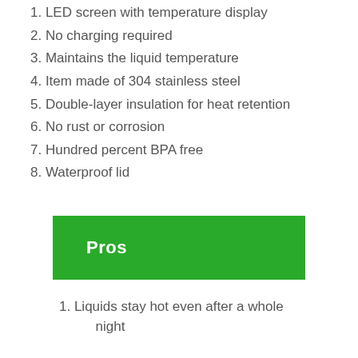1. LED screen with temperature display
2. No charging required
3. Maintains the liquid temperature
4. Item made of 304 stainless steel
5. Double-layer insulation for heat retention
6. No rust or corrosion
7. Hundred percent BPA free
8. Waterproof lid
Pros
1. Liquids stay hot even after a whole night